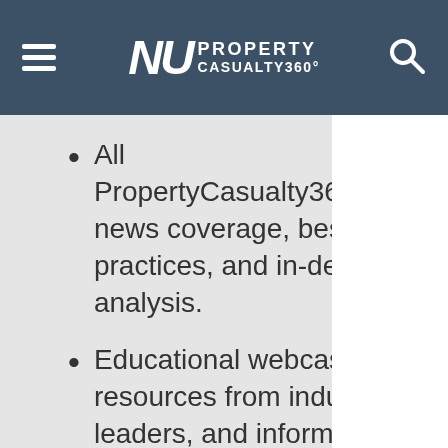NU PROPERTY CASUALTY360°
All PropertyCasualty360.com news coverage, best practices, and in-depth analysis.
Educational webcasts, resources from industry leaders, and informative newsletters.
Other award-